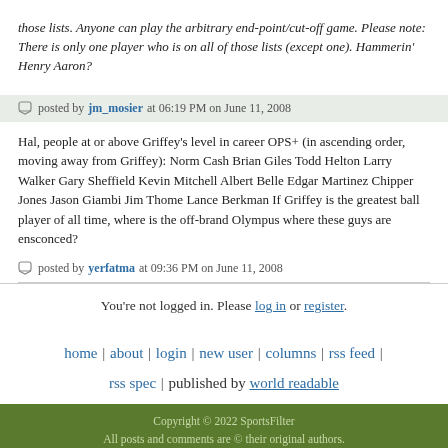those lists. Anyone can play the arbitrary end-point/cut-off game. Please note: There is only one player who is on all of those lists (except one). Hammerin' Henry Aaron?
posted by jm_mosier at 06:19 PM on June 11, 2008
Hal, people at or above Griffey's level in career OPS+ (in ascending order, moving away from Griffey): Norm Cash Brian Giles Todd Helton Larry Walker Gary Sheffield Kevin Mitchell Albert Belle Edgar Martinez Chipper Jones Jason Giambi Jim Thome Lance Berkman If Griffey is the greatest ball player of all time, where is the off-brand Olympus where these guys are ensconced?
posted by yerfatma at 09:36 PM on June 11, 2008
You're not logged in. Please log in or register.
home | about | login | new user | columns | rss feed | rss spec | published by world readable
Copyright © 2022 SportsFilter
All posts and comments are © their original authors.